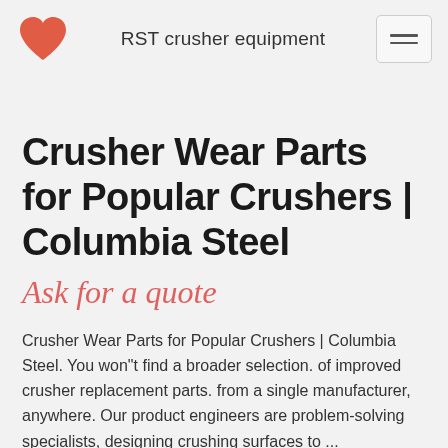RST crusher equipment
Crusher Wear Parts for Popular Crushers | Columbia Steel
Ask for a quote
Crusher Wear Parts for Popular Crushers | Columbia Steel. You won"t find a broader selection. of improved crusher replacement parts. from a single manufacturer, anywhere. Our product engineers are problem-solving specialists, designing crushing surfaces to ...